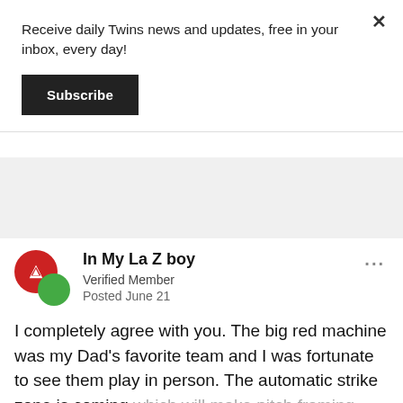Receive daily Twins news and updates, free in your inbox, every day!
Subscribe
In My La Z boy
Verified Member
Posted June 21
I completely agree with you. The big red machine was my Dad's favorite team and I was fortunate to see them play in person. The automatic strike zone is coming which will make pitch framing irrelevant. This is a very dubious stat, and I was never a believer in this